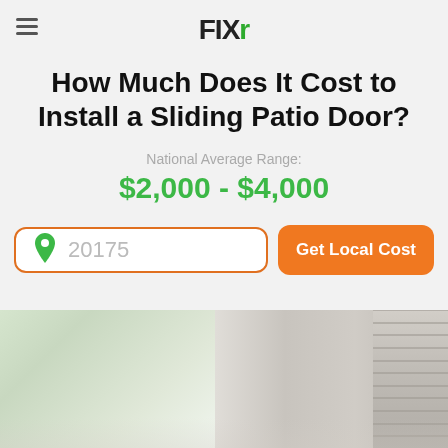FIXR
How Much Does It Cost to Install a Sliding Patio Door?
National Average Range:
$2,000 - $4,000
20175
Get Local Cost
[Figure (photo): Interior view of a sliding patio door with white frame, showing room interior on the left and door track/blinds on the right side]